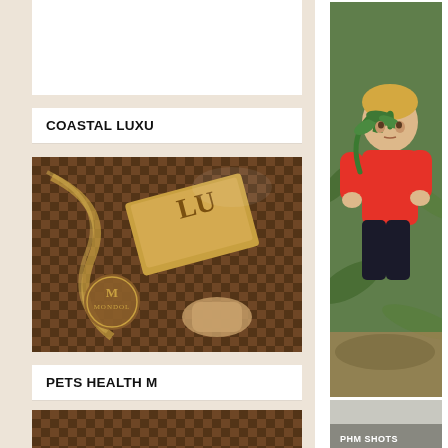[Figure (photo): Child in red shirt holding green plant/succulent leaves outdoors among garden plants]
[Figure (photo): Mondol luxury product — woven brown basket/tray with gold card and M logo branding]
COASTAL LUXU
PETS HEALTH M
[Figure (photo): eharmony advertisement showing couple smiling, text HERE FOR REAL LOVE with JOIN NOW button]
[Figure (screenshot): Bottom strip showing PHM SHOTS text]